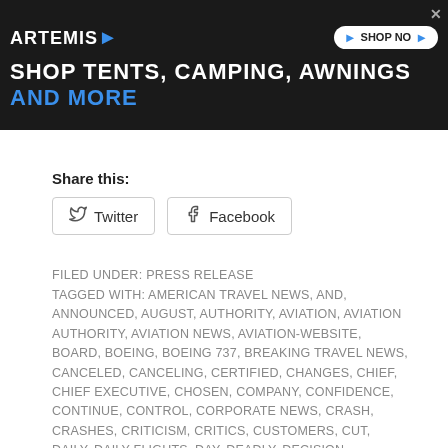[Figure (other): Advertisement banner for Artemis: 'SHOP TENTS, CAMPING, AWNINGS AND MORE' with dark background and blue accents, includes Shop Now button]
Share this:
Twitter  Facebook
FILED UNDER: PRESS RELEASE
TAGGED WITH: AMERICAN TRAVEL NEWS, AND, ANNOUNCED, AUGUST, AUTHORITY, AVIATION, AVIATION AUTHORITY, AVIATION NEWS, AVIATION-WEBSITE, BOARD, BOEING, BOEING 737, BREAKING TRAVEL NEWS, CANCELED, CANCELING, CERTIFIED, CHANGES, CHIEF, CHIEF EXECUTIVE, CHOSEN, COMPANY, CONFIDENCE, CONTINUE, CONTROL, CORPORATE NEWS, CRASH, CRASHES, CRITICISM, CRITICS, CUSTOMERS, CUT, DAILY, DAILY FLIGHTS, DAY, DEADLY, DECISION, DELIVERED, DEMAND, EARLY, EMPLOYEES, ETHIOPIAN, ETHIOPIAN AIRLINES, ETHIOPIAN AIRLINES FLIGHT, EVEN, EXECUTIVE, EXPECTED, EXTENSION, FATAL, FAULTY, FEATURE, FEDERAL, FIX, FLEET, FLIGHT, FLIGHT SAFETY, FLIGHTS, FREE, FROZEN, GROUNDED, GROUNDING, HOUSE, IN, INCIDENT, IT, JET, JETS,